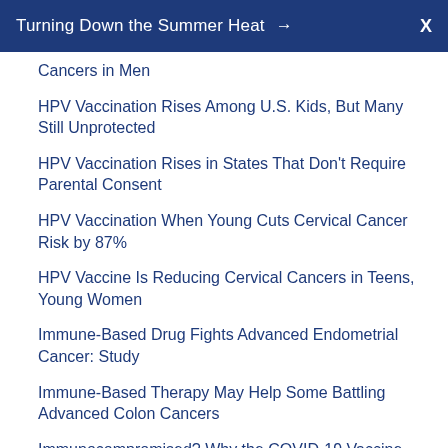Turning Down the Summer Heat →   X
Cancers in Men
HPV Vaccination Rises Among U.S. Kids, But Many Still Unprotected
HPV Vaccination Rises in States That Don't Require Parental Consent
HPV Vaccination When Young Cuts Cervical Cancer Risk by 87%
HPV Vaccine Is Reducing Cervical Cancers in Teens, Young Women
Immune-Based Drug Fights Advanced Endometrial Cancer: Study
Immune-Based Therapy May Help Some Battling Advanced Colon Cancers
Immunocompromised? Why the COVID-19 Vaccine Might Still Protect You